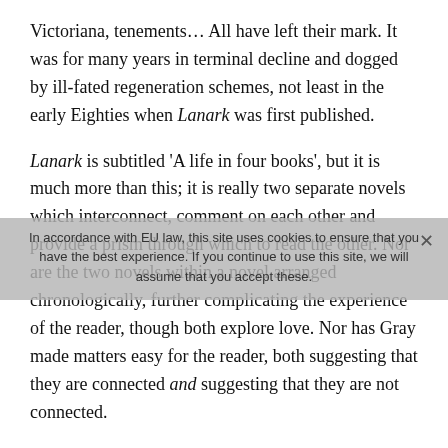Victoriana, tenements… All have left their mark. It was for many years in terminal decline and dogged by ill-fated regeneration schemes, not least in the early Eighties when Lanark was first published.
Lanark is subtitled 'A life in four books', but it is much more than this; it is really two separate novels which interconnect, comment on each other and provide a prism through which to read the other. Nor are the two novels within a novel arranged chronologically, further complicating the experience of the reader, though both explore love. Nor has Gray made matters easy for the reader, both suggesting that they are connected and suggesting that they are not connected.
The first (though not in the order given in Lanark) is the story of Duncan Thaw, a small boy growing up in a mixed district of the city of Glasgow. Here Lanark most resembles a conventional, realist novel. Evacuated to the Highlands during the Second World War, his story echoes a novel such as A Portrait of the Artist as a Young Man, and like Joyce's bildungsroman draws on Gray's own adolescence for its material. Thaw passes the entrance test to a grammar school and finally reaches Glasgow School of Art where his increasingly strong sense of